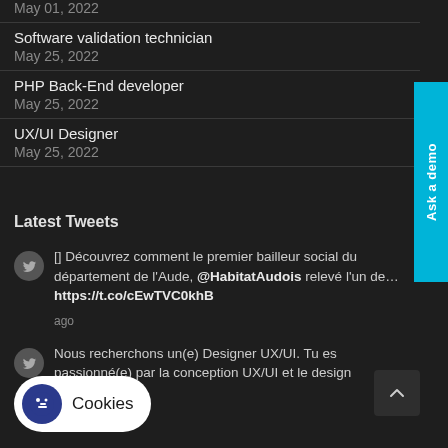May 01, 2022
Software validation technician
May 25, 2022
PHP Back-End developer
May 25, 2022
UX/UI Designer
May 25, 2022
Latest Tweets
[] Découvrez comment le premier bailleur social du département de l'Aude, @HabitatAudois relevé l'un de… https://t.co/cEwTVC0khB
Nous recherchons un(e) Designer UX/UI.  Tu es passionné(e) par la conception UX/UI et le design
Cookies